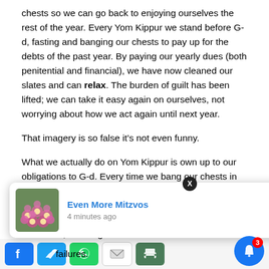chests so we can go back to enjoying ourselves the rest of the year. Every Yom Kippur we stand before G-d, fasting and banging our chests to pay up for the debts of the past year. By paying our yearly dues (both penitential and financial), we have now cleaned our slates and can relax. The burden of guilt has been lifted; we can take it easy again on ourselves, not worrying about how we act again until next year.
That imagery is so false it’s not even funny.
What we actually do on Yom Kippur is own up to our obligations to G-d. Every time we bang our chests in contrition, we are not “punishing” ourselves and alleviating our guilt. We are obligating ourselves ever stronger: I must do this, I owe it to You to be better about that, I’m obligated to refrain from this. Yom Kippur is an enormous acceptance of obligation. I should walk away
[Figure (screenshot): Mobile notification popup overlay showing 'Even More Mitzvos' with flower image and '4 minutes ago' timestamp, with an X close button]
s well as love that a challenge
failures.
[Figure (screenshot): Mobile social sharing toolbar with Facebook, Twitter, WhatsApp, Email, and Print buttons, plus a blue notification bell with badge showing 3]